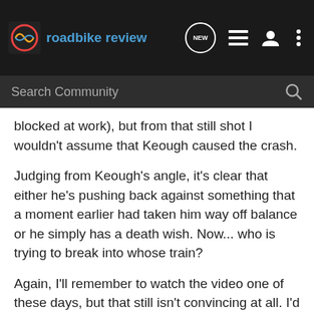roadbike review
blocked at work), but from that still shot I wouldn't assume that Keough caused the crash.
Judging from Keough's angle, it's clear that either he's pushing back against something that a moment earlier had taken him way off balance or he simply has a death wish. Now... who is trying to break into whose train?
Again, I'll remember to watch the video one of these days, but that still isn't convincing at all. I'd say just the opposite.
JohnStonebarger · Registered
Joined Jan 21, 2004 · 1,333 Posts